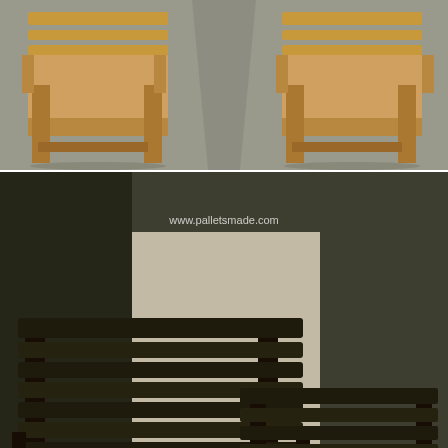[Figure (photo): Two wooden pallet chairs/stools in light natural wood color, photographed from above at an angle on a gray concrete floor. The chairs appear unfinished.]
[Figure (photo): Two dark-stained wooden pallet benches with backrests, photographed side by side facing each other on a concrete floor. A watermark reads www.palletsmade.com.]
Shared By: Yulios Baier
Check out this cabinet structure being created in a mind blowing wood pallet working. This is a long vertical in shape cabinet structure piece where you would intentionally be